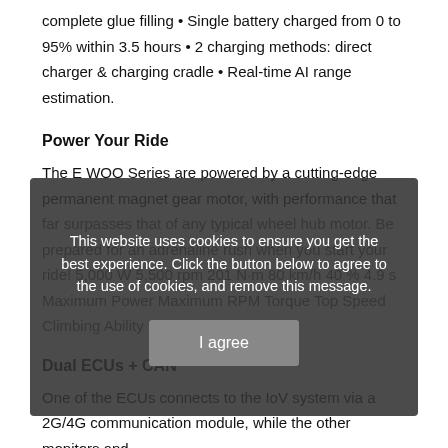complete glue filling • Single battery charged from 0 to 95% within 3.5 hours • 2 charging methods: direct charger & charging cradle • Real-time AI range estimation.
Power Your Ride
The E WOO Series are powered by a cutting-edge permanent magnet gear motor, with performance that far surpasses that of any typical wheel hub motor. Be prepared for an adrenaline rush when you start your ride! 5,000 W 5,500 rpm 201 N·m 80 km/h 40 % 4.9 s Maximum Power Maximum RPM Torque Top Speed Climbing Ability From 0-50 kmpH.
Dual ECUs + CAN
One of the ECUs connects to the IoV system via a 2G/4G communication module, while the other monitors and
This website uses cookies to ensure you get the best experience. Click the button below to agree to the use of cookies, and remove this message.